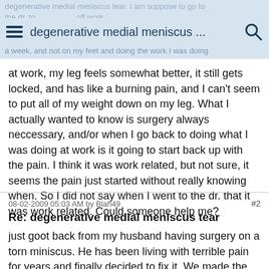degenerative medial meniscus tear degenerative medial meniscus ...
at work, my leg feels somewhat better, it still gets locked, and has like a burning pain, and I can't seem to put all of my weight down on my leg. What I actually wanted to know is surgery always neccessary, and/or when I go back to doing what I was doing at work is it going to start back up with the pain. I think it was work related, but not sure, it seems the pain just started without really knowing when. So I did not say when I went to the dr. that it was work related. Could someone help me?
08-02-2009 05:03 AM by Blah49  #2
Re: degenerative medial meniscus tear
just goot back from my husband having surgery on a torn miniscus. He has been living with terrible pain for years and finally decided to fix it. We made the mistake of trying a